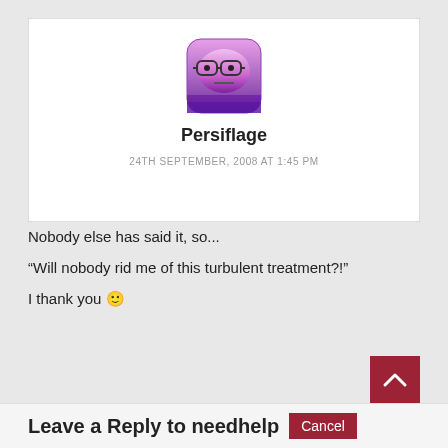[Figure (illustration): Purple cartoon avatar with glasses and neutral expression on a white/purple gradient rounded square background]
Persiflage
24TH SEPTEMBER, 2008 AT 1:45 PM
Nobody else has said it, so...
“Will nobody rid me of this turbulent treatment?!”
I thank you 🙂
REPLY
Leave a Reply to needhelp
Cancel